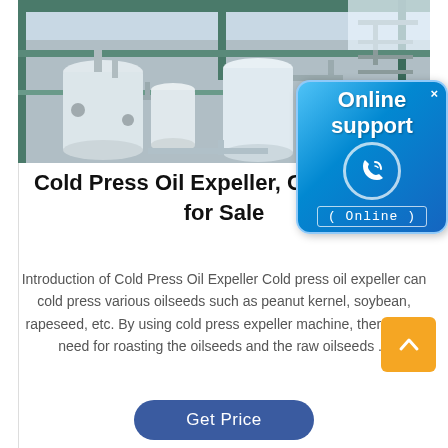[Figure (photo): Industrial oil expeller/press machinery plant interior showing large cylindrical tanks, pipes, and processing equipment in a factory setting]
[Figure (infographic): Online support badge — blue rounded square with 'Online support' text, phone icon in circle, and '( Online )' label]
Cold Press Oil Expeller, Cold Oil P... for Sale
Introduction of Cold Press Oil Expeller Cold press oil expeller can cold press various oilseeds such as peanut kernel, soybean, rapeseed, etc. By using cold press expeller machine, there is no need for roasting the oilseeds and the raw oilseeds ...
[Figure (other): Orange scroll-to-top button with upward arrow (chevron)]
[Figure (other): Blue rounded 'Get Price' button]